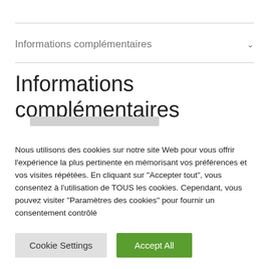Informations complémentaires
Informations complémentaires
Nous utilisons des cookies sur notre site Web pour vous offrir l'expérience la plus pertinente en mémorisant vos préférences et vos visites répétées. En cliquant sur "Accepter tout", vous consentez à l'utilisation de TOUS les cookies. Cependant, vous pouvez visiter "Paramètres des cookies" pour fournir un consentement contrôlé
Cookie Settings
Accept All